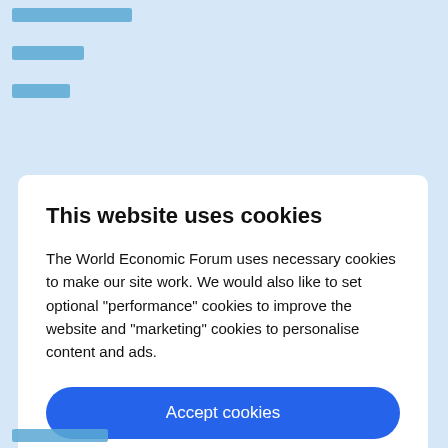[Figure (screenshot): Redacted/blurred navigation links in teal/blue color at top of page background]
This website uses cookies
The World Economic Forum uses necessary cookies to make our site work. We would also like to set optional “performance” cookies to improve the website and “marketing” cookies to personalise content and ads.
Accept cookies
Reject cookies
Cookie settings
[Figure (screenshot): Redacted/blurred text link at bottom of page background]